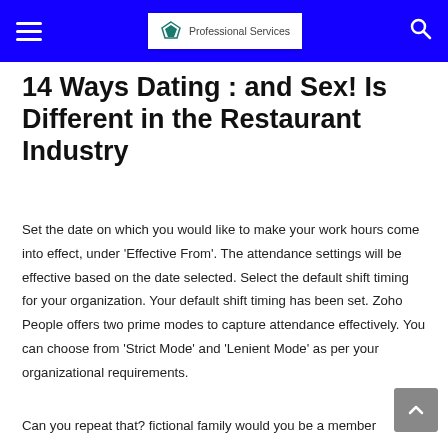Professional Services
14 Ways Dating : and Sex! Is Different in the Restaurant Industry
Set the date on which you would like to make your work hours come into effect, under 'Effective From'. The attendance settings will be effective based on the date selected. Select the default shift timing for your organization. Your default shift timing has been set. Zoho People offers two prime modes to capture attendance effectively. You can choose from 'Strict Mode' and 'Lenient Mode' as per your organizational requirements.
Can you repeat that? fictional family would you be a member